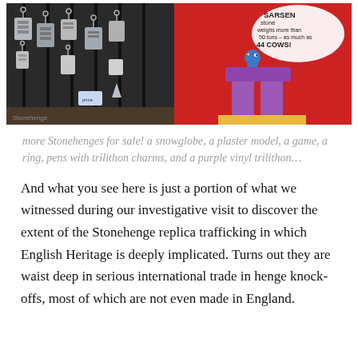[Figure (photo): Left: display of black pens with silver/metallic trilithon charm keyrings hanging from a rack. Right: red background product packaging showing a purple vinyl trilithon Stonehenge toy with a speech bubble reading 'SARSEN stone weighs more than 50 tons – as much as 44 COWS!' and a small bird character.]
more Stonehenges for sale! a snowglobe, a plaster model, a game, a ring, pens with trilithon charms, and a purple vinyl trilithon…
And what you see here is just a portion of what we witnessed during our investigative visit to discover the extent of the Stonehenge replica trafficking in which English Heritage is deeply implicated. Turns out they are waist deep in serious international trade in henge knock-offs, most of which are not even made in England.